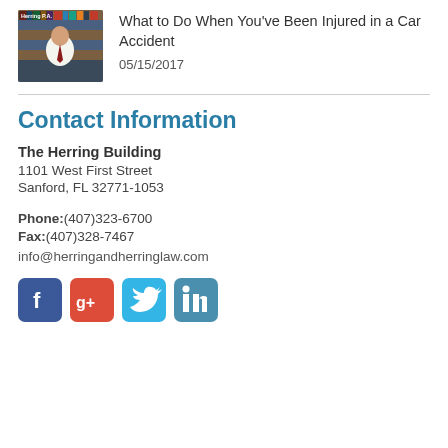[Figure (photo): Thumbnail image of a man in a suit sitting in front of bookshelves, with 'Herring P.A.' label in top-left corner]
What to Do When You've Been Injured in a Car Accident
05/15/2017
Contact Information
The Herring Building
1101 West First Street
Sanford, FL 32771-1053
Phone:(407)323-6700
Fax:(407)328-7467
info@herringandherringlaw.com
[Figure (infographic): Social media icons: Facebook (blue), Google+ (red), Twitter (light blue), LinkedIn (teal-blue)]